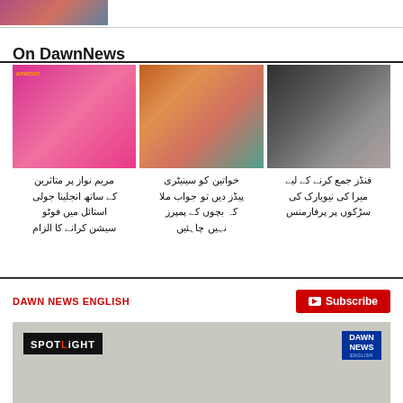[Figure (photo): Small thumbnail image at top of page]
On DawnNews
[Figure (photo): Three news images in a row: woman in pink dress (Amazon event), women in colorful hijabs, two women in black hijabs]
فنڈز جمع کرنے کے لیے میرا کی نیویارک کی سڑکوں پر پرفارمنس
خواتین کو سینیٹری پیڈز دیں تو جواب ملا کہ بچوں کے پمپرز نہیں چاہئیں
مریم نواز پر متاثرین کے ساتھ انجلینا جولی استائل میں فوٹو سیشن کرانے کا الزام
DAWN NEWS ENGLISH
[Figure (screenshot): YouTube subscribe button in red]
[Figure (screenshot): Video thumbnail showing SPOTLIGHT banner on left and DAWN NEWS logo on right, with grey background scene]